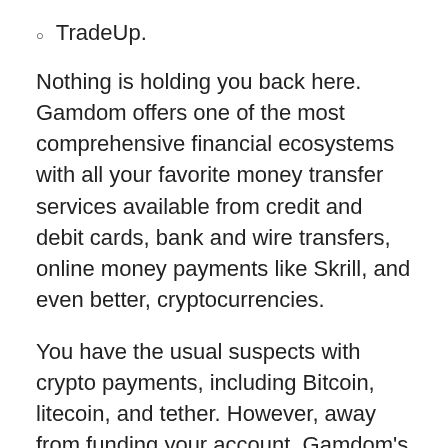TradeUp.
Nothing is holding you back here. Gamdom offers one of the most comprehensive financial ecosystems with all your favorite money transfer services available from credit and debit cards, bank and wire transfers, online money payments like Skrill, and even better, cryptocurrencies.
You have the usual suspects with crypto payments, including Bitcoin, litecoin, and tether. However, away from funding your account, Gamdom's financial ecosystem allows you to move funds to other play